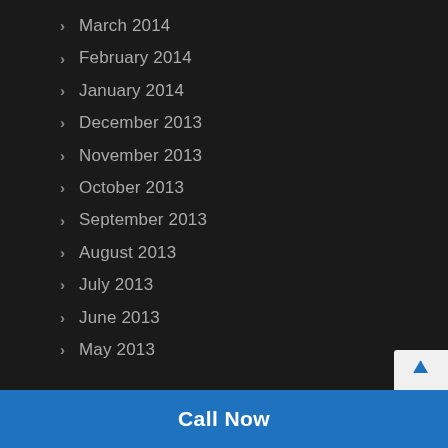March 2014
February 2014
January 2014
December 2013
November 2013
October 2013
September 2013
August 2013
July 2013
June 2013
May 2013
Call Now